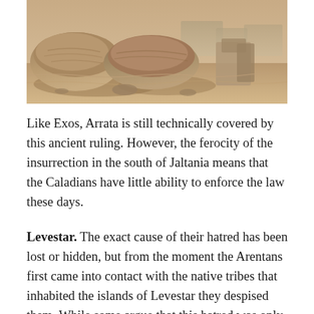[Figure (illustration): Sepia-toned sketch or engraving of ancient ruins or large stone blocks in a desert or archaeological setting, viewed from ground level.]
Like Exos, Arrata is still technically covered by this ancient ruling. However, the ferocity of the insurrection in the south of Jaltania means that  the Caladians have little ability to enforce the law these days.
Levestar. The exact cause of their hatred has been lost or hidden, but from the moment the Arentans first came into contact with the native tribes that inhabited the islands of Levestar they despised them. While some argue that this hatred was only Arentan posturing to pave the way for their later invasion, surviving sources make it clear the Arentans loathed these tribes with an almost holy passion. Regardless of the truth, in 1112 BCI the senate was moved enough to declare the islands Terra Prohibita